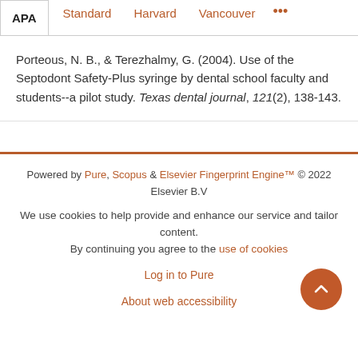APA  Standard  Harvard  Vancouver  ...
Porteous, N. B., & Terezhalmy, G. (2004). Use of the Septodont Safety-Plus syringe by dental school faculty and students--a pilot study. Texas dental journal, 121(2), 138-143.
Powered by Pure, Scopus & Elsevier Fingerprint Engine™ © 2022 Elsevier B.V
We use cookies to help provide and enhance our service and tailor content. By continuing you agree to the use of cookies
Log in to Pure
About web accessibility